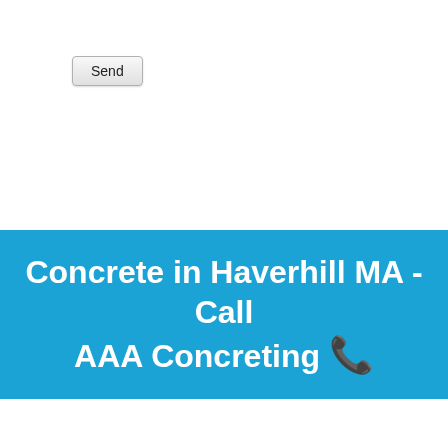Send
Concrete in Haverhill MA - Call AAA Concreting 📞